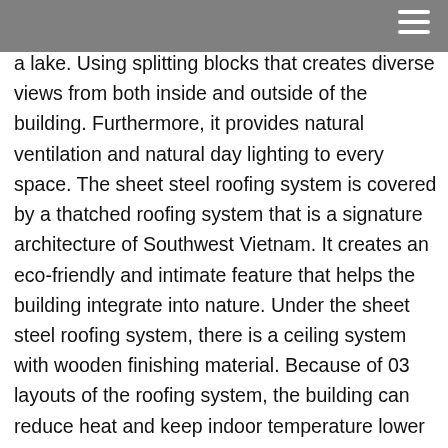a lake. Using splitting blocks that creates diverse views from both inside and outside of the building. Furthermore, it provides natural ventilation and natural day lighting to every space. The sheet steel roofing system is covered by a thatched roofing system that is a signature architecture of Southwest Vietnam. It creates an eco-friendly and intimate feature that helps the building integrate into nature. Under the sheet steel roofing system, there is a ceiling system with wooden finishing material. Because of 03 layouts of the roofing system, the building can reduce heat and keep indoor temperature lower than outdoor by itself. The wooden ceiling system is treated as the same color as the wood-lined concrete wall. Similar to the floor, we created a similar color as the wood-lined concrete wall color (the handmade wood grain concrete boards) . And without using tile flooring, we used grinding concrete floor to